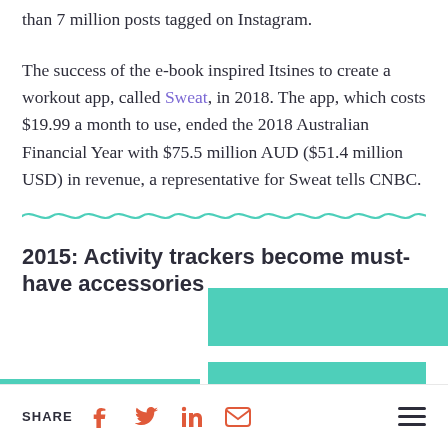than 7 million posts tagged on Instagram.
The success of the e-book inspired Itsines to create a workout app, called Sweat, in 2018. The app, which costs $19.99 a month to use, ended the 2018 Australian Financial Year with $75.5 million AUD ($51.4 million USD) in revenue, a representative for Sweat tells CNBC.
2015: Activity trackers become must-have accessories
[Figure (other): Teal/turquoise decorative image block with L-shaped teal bars at bottom right of content area and a cyan horizontal stripe at bottom left]
SHARE [Facebook] [Twitter] [LinkedIn] [Email] [Menu]